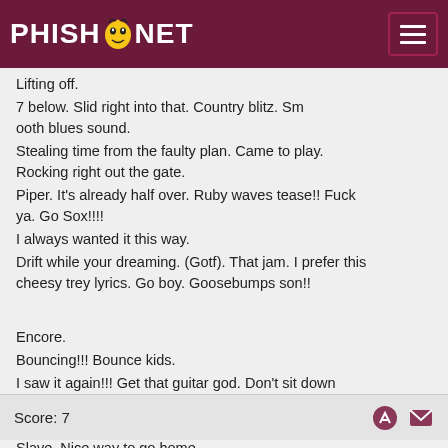PHISH.NET
Lifting off.
7 below. Slid right into that. Country blitz. Smooth blues sound.
Stealing time from the faulty plan. Came to play. Rocking right out the gate.
Piper. It's already half over. Ruby waves tease!! Fuck ya. Go Sox!!!!
I always wanted it this way.
Drift while your dreaming. (Gotf). That jam. I prefer this cheesy trey lyrics. Go boy. Goosebumps son!!

Encore.
Bouncing!!! Bounce kids.
I saw it again!!! Get that guitar god. Don't sit down during set break. Stand up. Stand the fuck up. Kong tease
Slave. Nice way to go home.
Score: 7